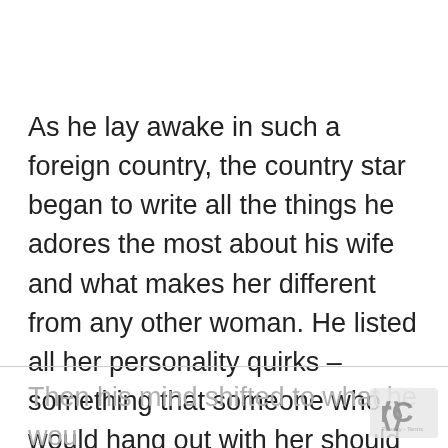As he lay awake in such a foreign country, the country star began to write all the things he adores the most about his wife and what makes her different from any other woman. He listed all her personality quirks – something that someone who would hang out with her should know.
Then his mind shifted to what he wou want for his wife, if something were t